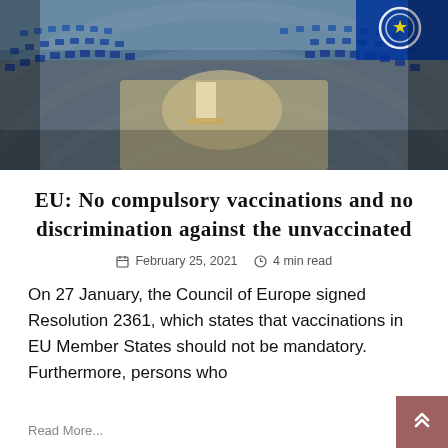[Figure (photo): Wide-angle photograph of a large parliamentary assembly hall (Council of Europe), filled with delegates seated in curved rows, with a speaker at a podium in the center. A Council of Europe logo is partially visible in the top right corner.]
EU: No compulsory vaccinations and no discrimination against the unvaccinated
February 25, 2021  4 min read
On 27 January, the Council of Europe signed Resolution 2361, which states that vaccinations in EU Member States should not be mandatory. Furthermore, persons who
Read More...